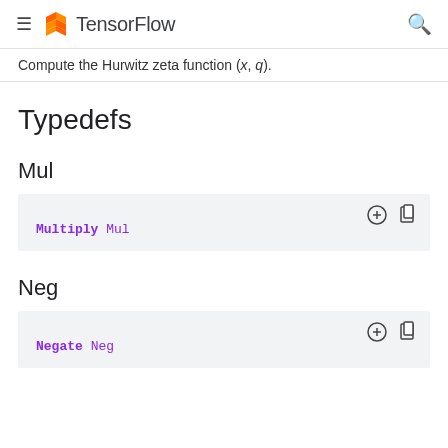TensorFlow
Compute the Hurwitz zeta function (x, q).
Typedefs
Mul
Multiply Mul
Neg
Negate Neg